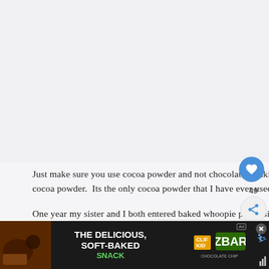[Figure (photo): Large image area at top of page, mostly blank/white placeholder area for a recipe photo]
Just make sure you use cocoa powder and not chocolate drinking powder or hot cocoa mix. Plain old baking cocoa powder. I use Fry's cocoa powder. Its the only cocoa powder that I have ever used in North America. Its the b... as far as I am concerned.
One year my sister and I both entered baked whoopie pies, using my whoopie pie recipe into our respective county fa... won the Pr... them...